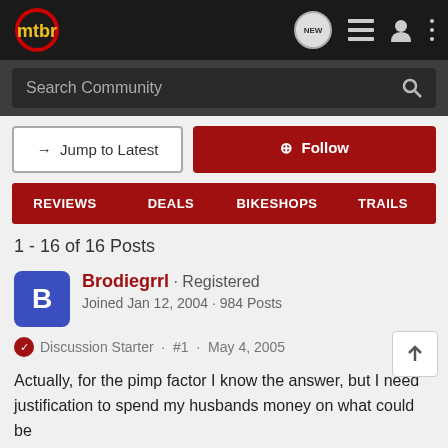mtbr
Search Community
→ Jump to Latest   + Follow
REVIEWS   DEALS   BIKESHOPS   TRAILS
1 - 16 of 16 Posts
Brodiegrrl · Registered
Joined Jan 12, 2004 · 984 Posts
Discussion Starter · #1 · May 4, 2005
Actually, for the pimp factor I know the answer, but I need justification to spend my husbands money on what could be